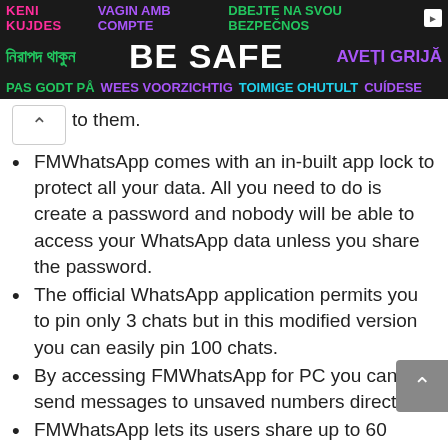[Figure (infographic): Multilingual 'BE SAFE' advertisement banner with colorful text in multiple languages on dark background]
to them.
FMWhatsApp comes with an in-built app lock to protect all your data. All you need to do is create a password and nobody will be able to access your WhatsApp data unless you share the password.
The official WhatsApp application permits you to pin only 3 chats but in this modified version you can easily pin 100 chats.
By accessing FMWhatsApp for PC you can send messages to unsaved numbers directly.
FMWhatsApp lets its users share up to 60 images at once, while in the original app it is limited to 30 pictures at once.